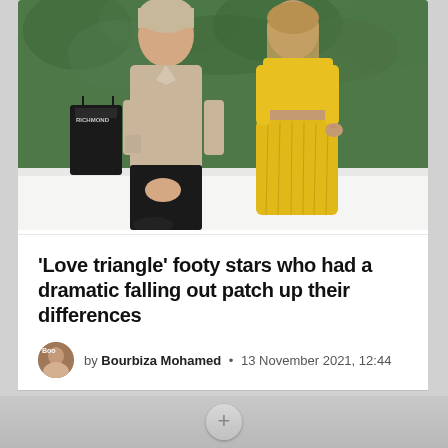[Figure (photo): A young man in a beige linen shirt and black shorts sitting next to a young woman in a yellow dress, both seated on a white bench in front of green foliage. A black shopping bag is visible in the background.]
'Love triangle' footy stars who had a dramatic falling out patch up their differences
by Bourbiza Mohamed • 13 November 2021, 12:44